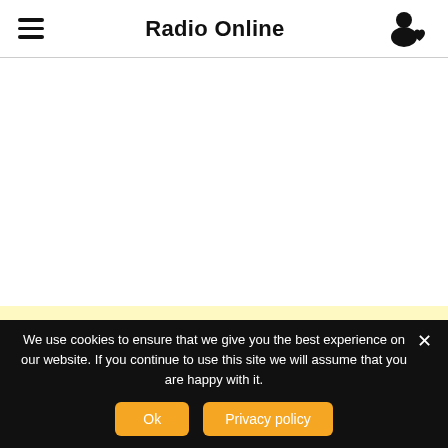Radio Online
[Figure (screenshot): White empty content area below header]
[Figure (screenshot): Light yellow/cream colored band]
We use cookies to ensure that we give you the best experience on our website. If you continue to use this site we will assume that you are happy with it.
Ok
Privacy policy